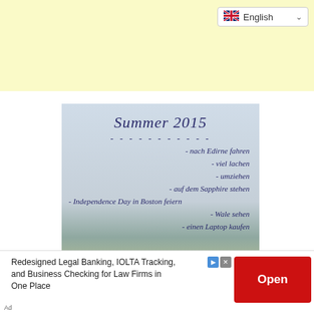[Figure (screenshot): Yellow banner/header area at top of webpage]
[Figure (illustration): Language selector dropdown showing UK flag and 'English' with chevron]
[Figure (photo): Beach photo with handwritten-style text overlay reading 'Summer 2015' followed by a list: - nach Edirne fahren, - viel lachen, - umziehen, - auf dem Sapphire stehen, - Independence Day in Boston feiern, - Wale sehen, - einen Laptop kaufen]
[Figure (infographic): Advertisement bar: 'Redesigned Legal Banking, IOLTA Tracking, and Business Checking for Law Firms in One Place' with red Open button]